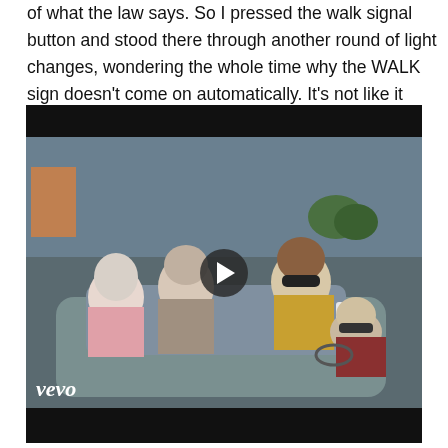of what the law says. So I pressed the walk signal button and stood there through another round of light changes, wondering the whole time why the WALK sign doesn't come on automatically. It's not like it does anywhere so why does it get a break?
[Figure (screenshot): Embedded video player (Vevo) showing people dressed in 18th-century colonial costumes riding in a convertible car on a city street, with a play button overlay in the center.]